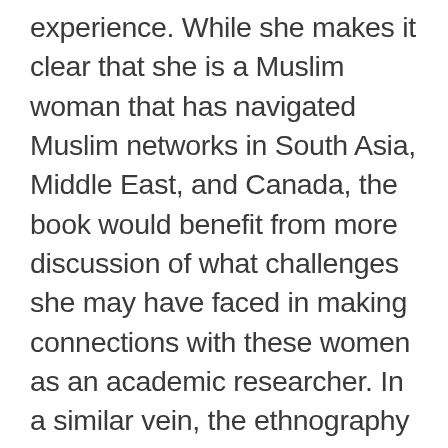experience. While she makes it clear that she is a Muslim woman that has navigated Muslim networks in South Asia, Middle East, and Canada, the book would benefit from more discussion of what challenges she may have faced in making connections with these women as an academic researcher. In a similar vein, the ethnography could also benefit from more discussion on the dynamics between women in the movement. For example, in one part of the book she